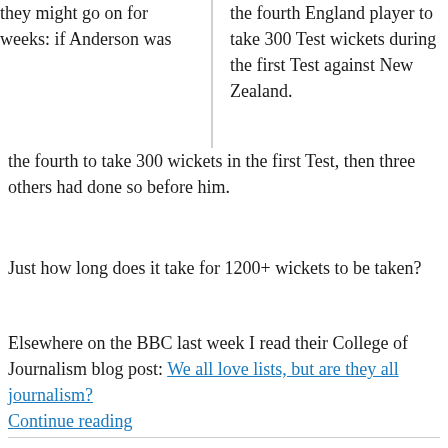they might go on for weeks: if Anderson was the fourth to take 300 wickets in the first Test, then three others had done so before him.
the fourth England player to take 300 Test wickets during the first Test against New Zealand.
Just how long does it take for 1200+ wickets to be taken?
Elsewhere on the BBC last week I read their College of Journalism blog post: We all love lists, but are they all journalism?
Continue reading